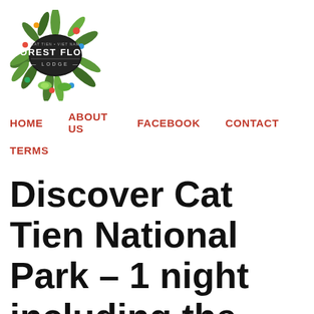[Figure (logo): Forest Floor Lodge logo — circular wreath of tropical jungle leaves and plants surrounding a dark oval badge with 'FOREST FLOOR LODGE' text in white]
HOME   ABOUT US   FACEBOOK   CONTACT   TERMS
Discover Cat Tien National Park – 1 night including the Animal Rescue Centre.